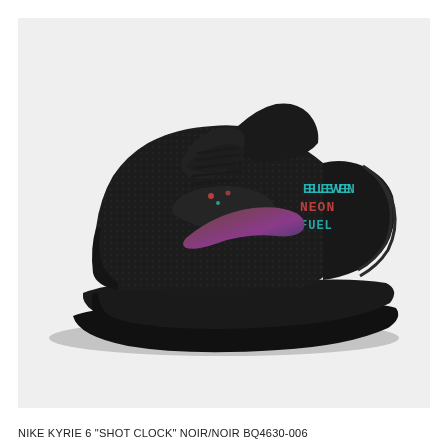[Figure (photo): Side profile photo of a Nike Kyrie 6 'Shot Clock' basketball shoe in black colorway with teal/green and red digital scoreboard-style text graphics on the upper, an iridescent/holographic Nike swoosh on the midfoot, and black midsole/outsole. The shoe faces left against a light gray background.]
NIKE KYRIE 6 "SHOT CLOCK" NOIR/NOIR BQ4630-006